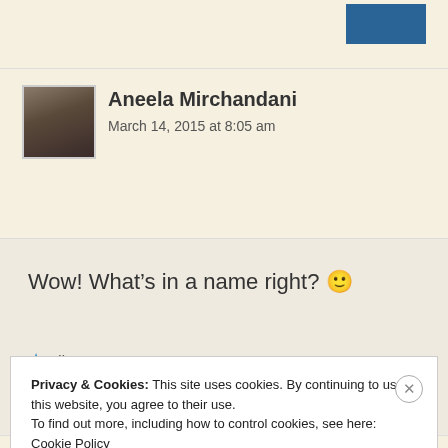[Figure (screenshot): Top navigation bar with a teal/blue button partially visible at top right]
Aneela Mirchandani
March 14, 2015 at 8:05 am
Wow! What’s in a name right? 🙂
★ Like
Privacy & Cookies: This site uses cookies. By continuing to use this website, you agree to their use.
To find out more, including how to control cookies, see here: Cookie Policy
Close and accept